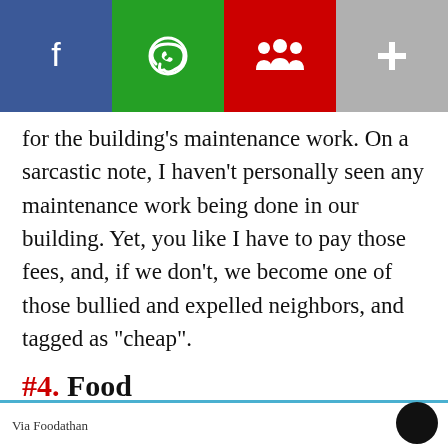[Figure (other): Social sharing bar with four buttons: Facebook (blue), WhatsApp (green), Share/community (red), More (gray)]
for the building’s maintenance work. On a sarcastic note, I haven’t personally seen any maintenance work being done in our building. Yet, you like I have to pay those fees, and, if we don’t, we become one of those bullied and expelled neighbors, and tagged as “cheap”.
#4. Food
[Figure (other): Partial bottom strip with blue top border showing 'Via Foodathan' text and a dark circular avatar on the right]